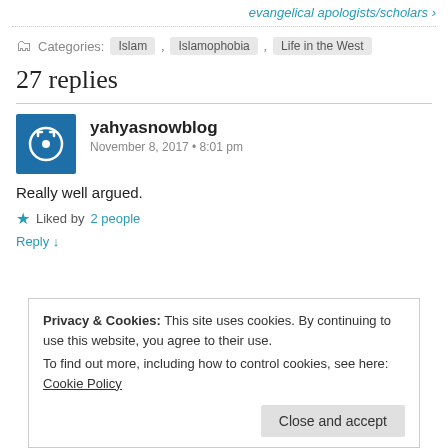evangelical apologists/scholars ›
Categories: Islam , Islamophobia , Life in the West
27 replies
yahyasnowblog
November 8, 2017 • 8:01 pm
Really well argued.
★ Liked by 2 people
Reply ↓
Privacy & Cookies: This site uses cookies. By continuing to use this website, you agree to their use.
To find out more, including how to control cookies, see here: Cookie Policy
Close and accept